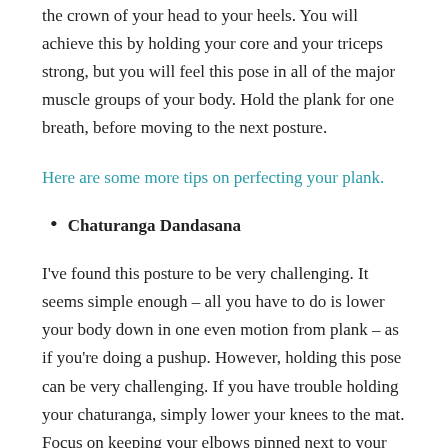the crown of your head to your heels. You will achieve this by holding your core and your triceps strong, but you will feel this pose in all of the major muscle groups of your body. Hold the plank for one breath, before moving to the next posture.
Here are some more tips on perfecting your plank.
Chaturanga Dandasana
I've found this posture to be very challenging. It seems simple enough – all you have to do is lower your body down in one even motion from plank – as if you're doing a pushup. However, holding this pose can be very challenging. If you have trouble holding your chaturanga, simply lower your knees to the mat. Focus on keeping your elbows pinned next to your body, your